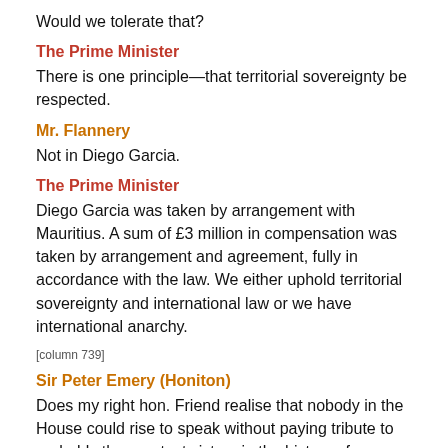Would we tolerate that?
The Prime Minister
There is one principle—that territorial sovereignty be respected.
Mr. Flannery
Not in Diego Garcia.
The Prime Minister
Diego Garcia was taken by arrangement with Mauritius. A sum of £3 million in compensation was taken by arrangement and agreement, fully in accordance with the law. We either uphold territorial sovereignty and international law or we have international anarchy.
[column 739]
Sir Peter Emery (Honiton)
Does my right hon. Friend realise that nobody in the House could rise to speak without paying tribute to probably the greatest victory in the history of an army at the end of an 8,000 mile march by sea? That achievement should be discussed...